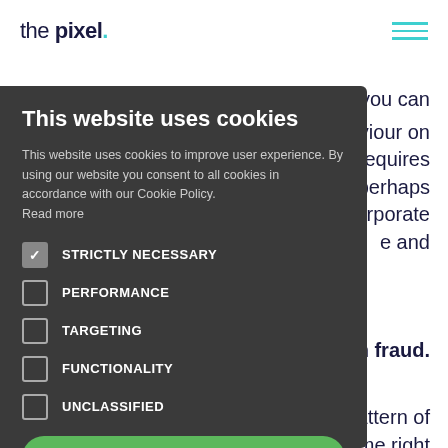[Figure (logo): The Pixel logo — 'the pixel.' in dark navy, with a teal dot after 'pixel']
[Figure (other): Hamburger menu icon with three teal horizontal lines]
you can behaviour on t requires s — perhaps corporate e and
turn fraud.
pattern of me right after the original purchase? Note how often
[Figure (screenshot): Cookie consent overlay on a website. Dark gray background panel showing: Title 'This website uses cookies', body text 'This website uses cookies to improve user experience. By using our website you consent to all cookies in accordance with our Cookie Policy. Read more', followed by checkboxes: STRICTLY NECESSARY (checked), PERFORMANCE (unchecked), TARGETING (unchecked), FUNCTIONALITY (unchecked), UNCLASSIFIED (unchecked), a green ACCEPT ALL button, and a SHOW DETAILS option at the bottom.]
This website uses cookies
This website uses cookies to improve user experience. By using our website you consent to all cookies in accordance with our Cookie Policy. Read more
STRICTLY NECESSARY
PERFORMANCE
TARGETING
FUNCTIONALITY
UNCLASSIFIED
ACCEPT ALL
SHOW DETAILS